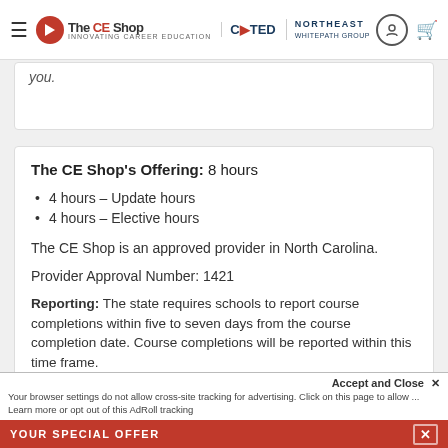The CE Shop | COTED | NORTHEAST
you.
The CE Shop's Offering: 8 hours
• 4 hours – Update hours
• 4 hours – Elective hours
The CE Shop is an approved provider in North Carolina.
Provider Approval Number: 1421
Reporting: The state requires schools to report course completions within five to seven days from the course completion date. Course completions will be reported within this time frame.
YOUR SPECIAL OFFER  ×
Your browser settings do not allow cross-site tracking for advertising. Click on this page to allow ... Learn more or opt out of this AdRoll tracking
Accept and Close ×